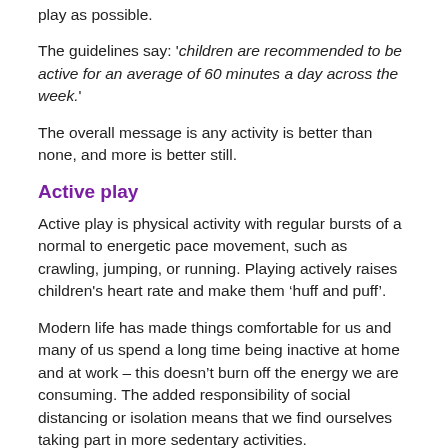play as possible.
The guidelines say: 'children are recommended to be active for an average of 60 minutes a day across the week.'
The overall message is any activity is better than none, and more is better still.
Active play
Active play is physical activity with regular bursts of a normal to energetic pace movement, such as crawling, jumping, or running. Playing actively raises children's heart rate and make them ‘huff and puff’.
Modern life has made things comfortable for us and many of us spend a long time being inactive at home and at work – this doesn’t burn off the energy we are consuming. The added responsibility of social distancing or isolation means that we find ourselves taking part in more sedentary activities.